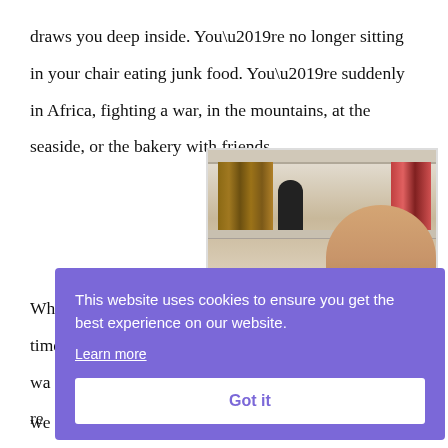draws you deep inside. You’re no longer sitting in your chair eating junk food. You’re suddenly in Africa, fighting a war, in the mountains, at the seaside, or the bakery with friends.
[Figure (photo): A smiling woman with short blonde hair holding a book with a teal cover, standing in front of a bookshelf with books and a small figurine]
What was the first time you felt this wa... re... wh... wit... and... we...
This website uses cookies to ensure you get the best experience on our website. Learn more Got it